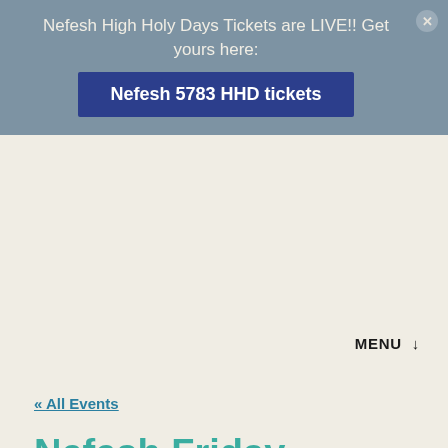Nefesh High Holy Days Tickets are LIVE!! Get yours here:
Nefesh 5783 HHD tickets
MENU ↓
« All Events
Nefesh Friday Shabbat in Echo Park